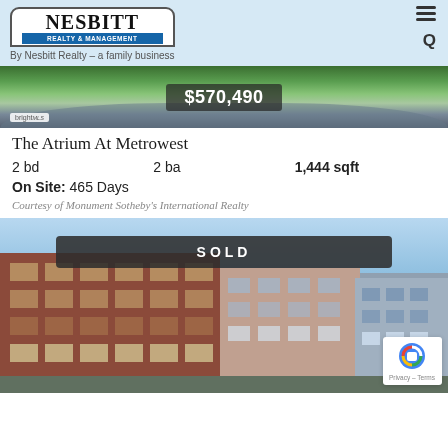Nesbitt Realty & Management – By Nesbitt Realty – a family business
[Figure (photo): Property listing image showing landscape with price overlay $570,490 and bright MLS watermark]
The Atrium At Metrowest
2 bd   2 ba   1,444 sqft
On Site: 465 Days
Courtesy of Monument Sotheby's International Realty
[Figure (photo): SOLD listing image showing multi-story brick apartment building at dusk with reCAPTCHA badge and Privacy – Terms footer]